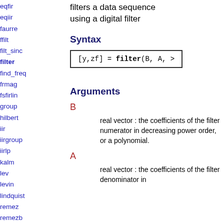eqfir
eqiir
faurre
ffilt
filt_sinc
filter
find_freq
frmag
fsfirlin
group
hilbert
iir
iirgroup
iirlp
kalm
lev
levin
lindquist
remez
remezb
srfaur
srkf
sskf
syredi
system
filters a data sequence using a digital filter
Syntax
[y,zf] = filter(B, A, >
Arguments
B
real vector : the coefficients of the filter numerator in decreasing power order, or a polynomial.
A
real vector : the coefficients of the filter denominator in